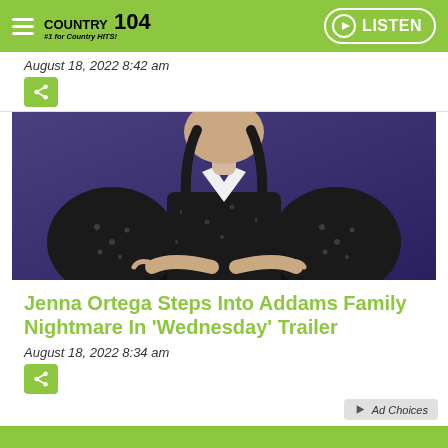COUNTRY 104 #1 for Country HITS! | LISTEN
August 18, 2022  8:42 am
[Figure (photo): Young woman in a dark polka-dot dress with white collar and black braided pigtails, arms crossed, posed against a purple background — character from Wednesday (Addams Family)]
Jenna Ortega Steps Into Addams Family Nightmare In 'Wednesday' Trailer
August 18, 2022  8:34 am